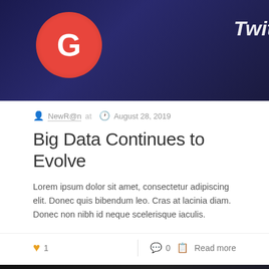[Figure (photo): Close-up photo of smartphone app icons on dark background, showing a red circular Google+ icon and Twitter text on a dark blue/navy background]
NewR@n at  August 28, 2019
Big Data Continues to Evolve
Lorem ipsum dolor sit amet, consectetur adipiscing elit. Donec quis bibendum leo. Cras at lacinia diam. Donec non nibh id neque scelerisque iaculis.
1   0   Read more
[Figure (photo): Close-up dark photo of smartphone screen showing Vimeo, YouTube (red play button) app icons, with a blue tile and YouTube text visible]